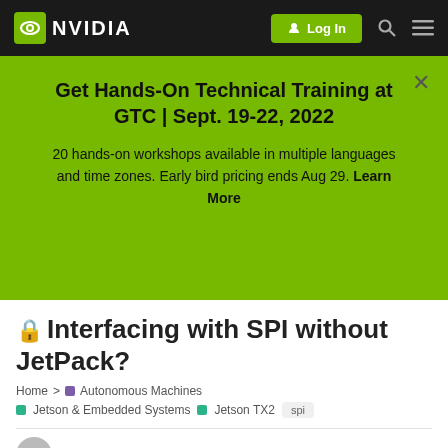NVIDIA — Log In
Get Hands-On Technical Training at GTC | Sept. 19-22, 2022
20 hands-on workshops available in multiple languages and time zones. Early bird pricing ends Aug 29. Learn More
🔒 Interfacing with SPI without JetPack?
Home > Autonomous Machines
Jetson & Embedded Systems  Jetson TX2  spi
akiani  1  May 27 '20